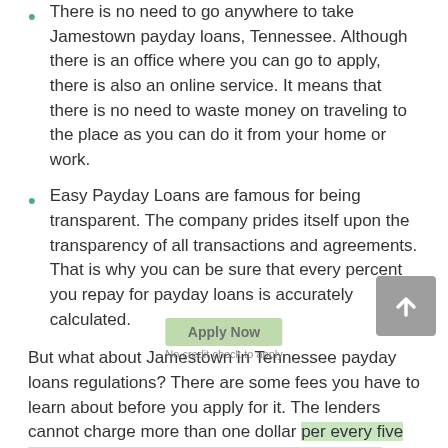There is no need to go anywhere to take Jamestown payday loans, Tennessee. Although there is an office where you can go to apply, there is also an online service. It means that there is no need to waste money on traveling to the place as you can do it from your home or work.
Easy Payday Loans are famous for being transparent. The company prides itself upon the transparency of all transactions and agreements. That is why you can be sure that every percent you repay for payday loans is accurately calculated.
But what about Jamestown in Tennessee payday loans regulations? There are some fees you have to learn about before you apply for it. The lenders cannot charge more than one dollar per every five dollars if you borrow around 30 dollars. Payday loans maximum APR makes up about 309 percent in case of a 100 dollars loan for two weeks. The amount you borrow is to be repaid in 30 days. The